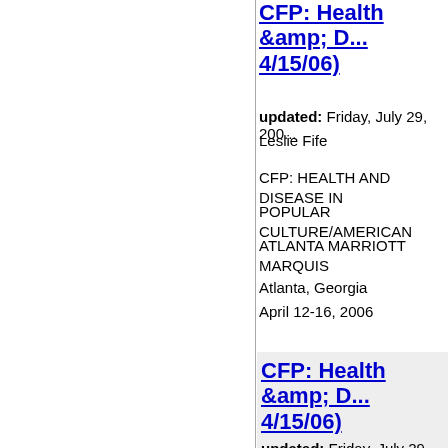CFP: Health &amp; D... 4/15/06)
updated: Friday, July 29, 200...
Leslie Fife
CFP: HEALTH AND DISEASE IN
POPULAR CULTURE/AMERICAN
ATLANTA MARRIOTT MARQUIS
Atlanta, Georgia
April 12-16, 2006
CFP: Health &amp; D... 4/15/06)
updated: Friday, July 29, 200...
Leslie Fife